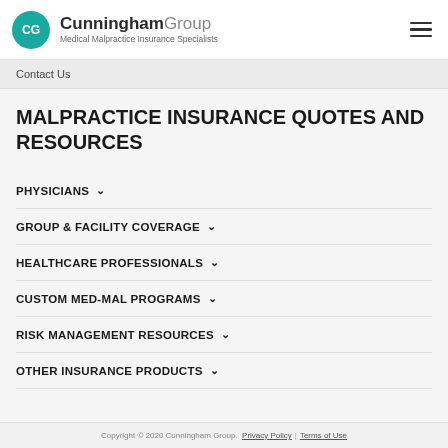CG Cunningham Group Medical Malpractice Insurance Specialists
Contact Us
MALPRACTICE INSURANCE QUOTES AND RESOURCES
PHYSICIANS
GROUP & FACILITY COVERAGE
HEALTHCARE PROFESSIONALS
CUSTOM MED-MAL PROGRAMS
RISK MANAGEMENT RESOURCES
OTHER INSURANCE PRODUCTS
Copyright © 2020 Cunningham Group. Privacy Policy | Terms of Use